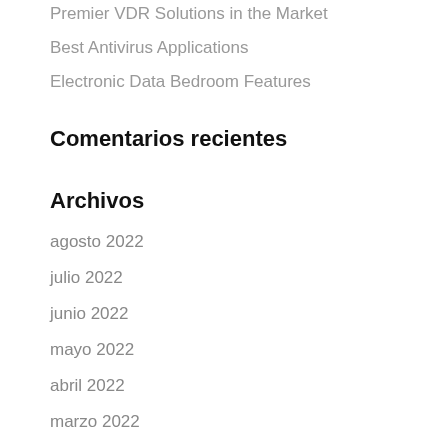Premier VDR Solutions in the Market
Best Antivirus Applications
Electronic Data Bedroom Features
Comentarios recientes
Archivos
agosto 2022
julio 2022
junio 2022
mayo 2022
abril 2022
marzo 2022
febrero 2022